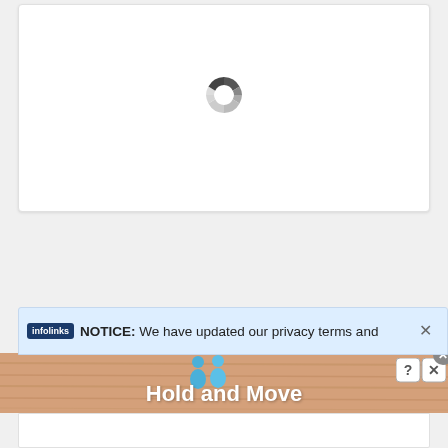[Figure (screenshot): White card area with a circular loading spinner (donut-style, grey segments) centered in the card]
NOTICE: We have updated our privacy terms and
[Figure (screenshot): Advertisement banner showing two blue figure icons above text 'Hold and Move' on a wood-grain background, with question mark and X close buttons]